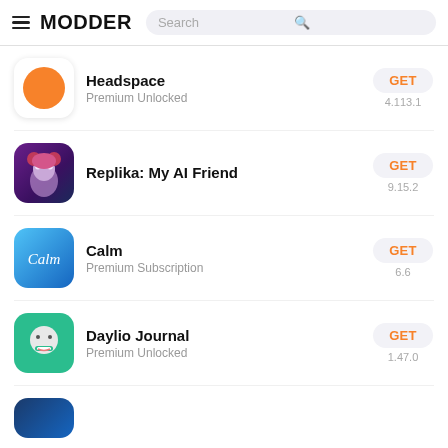MODDER   Search
Headspace — Premium Unlocked — GET — 4.113.1
Replika: My AI Friend — GET — 9.15.2
Calm — Premium Subscription — GET — 6.6
Daylio Journal — Premium Unlocked — GET — 1.47.0
[Figure (screenshot): Partial app icon visible at bottom of list]